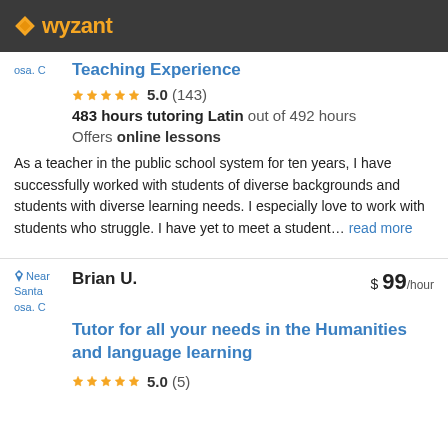[Figure (logo): Wyzant logo: orange diamond icon + 'wyzant' text in orange on dark gray header bar]
Teaching Experience
5.0 (143)
483 hours tutoring Latin out of 492 hours
Offers online lessons
As a teacher in the public school system for ten years, I have successfully worked with students of diverse backgrounds and students with diverse learning needs. I especially love to work with students who struggle. I have yet to meet a student… read more
Brian U.
$ 99/hour
Tutor for all your needs in the Humanities and language learning
5.0 (5)